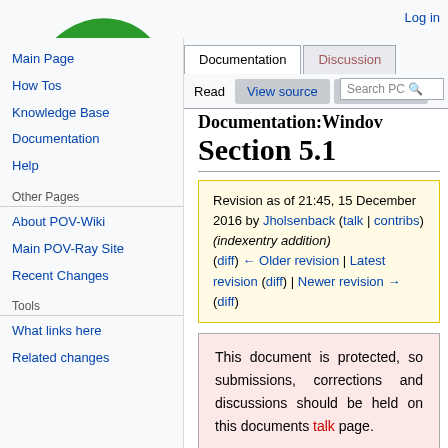Log in
Documentation | Discussion | Read | View source | View history | Search PC
[Figure (logo): POV-Wiki green figure logo]
Main Page
How Tos
Knowledge Base
Documentation
Help
Other Pages
About POV-Wiki
Main POV-Ray Site
Recent Changes
Tools
What links here
Related changes
Documentation:Windov Section 5.1
Revision as of 21:45, 15 December 2016 by Jholsenback (talk | contribs) (indexentry addition) (diff) ← Older revision | Latest revision (diff) | Newer revision → (diff)
This document is protected, so submissions, corrections and discussions should be held on this documents talk page.